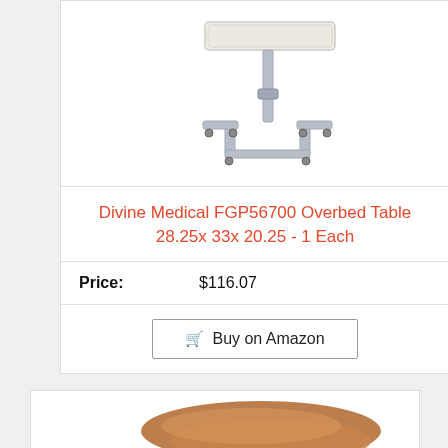[Figure (photo): Photo of an overbed table with a white/beige tabletop, adjustable metal pole, and C-shaped base with casters]
Divine Medical FGP56700 Overbed Table 28.25x 33x 20.25 - 1 Each
Price: $116.07
Buy on Amazon
[Figure (photo): Photo of a brown/tan overbed table tray surface, partially visible at bottom of page]